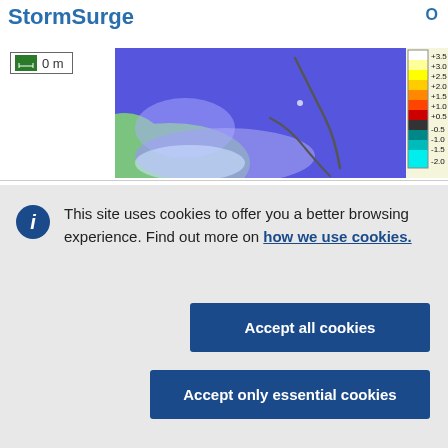StormSurge
[Figure (map): Storm surge map showing coastal area with blue ocean/water, green land, and a color scale legend ranging from -2.0 to +3.5 meters. A scale indicator shows '0 m'. Gray hurricane track line visible over water.]
This site uses cookies to offer you a better browsing experience. Find out more on how we use cookies.
Accept all cookies
Accept only essential cookies